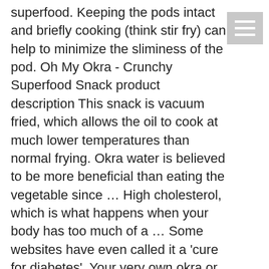superfood. Keeping the pods intact and briefly cooking (think stir fry) can help to minimize the sliminess of the pod. Oh My Okra - Crunchy Superfood Snack product description This snack is vacuum fried, which allows the oil to cook at much lower temperatures than normal frying. Okra water is believed to be more beneficial than eating the vegetable since … High cholesterol, which is what happens when your body has too much of a … Some websites have even called it a 'cure for diabetes'. Your very own okra or bhindi, a staple vegetable enjoyed by many is becoming a superfood for diabetes. Exercise & Fitness. Okra has recently been suggested to help manage blood sugar levels in people with diabetes. For others, who have had it prepared or pickled properly, okra has a taste that reminds of us soulful, Southern